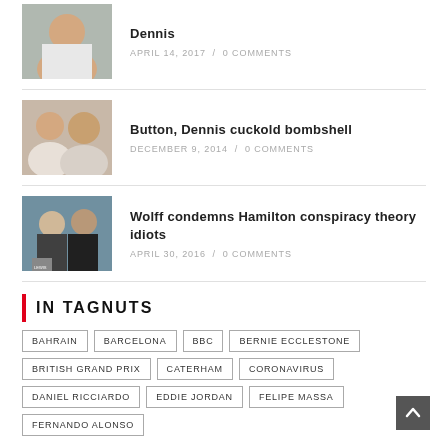[Figure (photo): Photo of smiling older man in light colored shirt (Ron Dennis)]
Dennis
APRIL 14, 2017 / 0 COMMENTS
[Figure (photo): Photo of two men including Jenson Button and Ron Dennis]
Button, Dennis cuckold bombshell
DECEMBER 9, 2014 / 0 COMMENTS
[Figure (photo): Photo of Toto Wolff and Lewis Hamilton in Mercedes gear]
Wolff condemns Hamilton conspiracy theory idiots
APRIL 30, 2016 / 0 COMMENTS
IN TAGNUTS
BAHRAIN
BARCELONA
BBC
BERNIE ECCLESTONE
BRITISH GRAND PRIX
CATERHAM
CORONAVIRUS
DANIEL RICCIARDO
EDDIE JORDAN
FELIPE MASSA
FERNANDO ALONSO